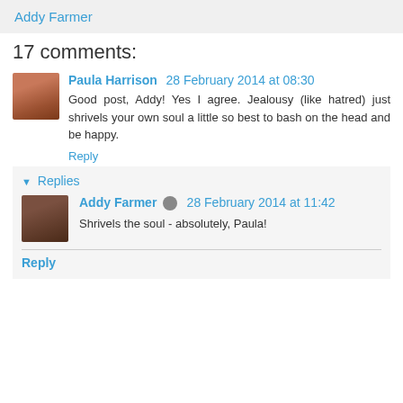Addy Farmer
17 comments:
Paula Harrison  28 February 2014 at 08:30
Good post, Addy! Yes I agree. Jealousy (like hatred) just shrivels your own soul a little so best to bash on the head and be happy.
Reply
▾ Replies
Addy Farmer  28 February 2014 at 11:42
Shrivels the soul - absolutely, Paula!
Reply